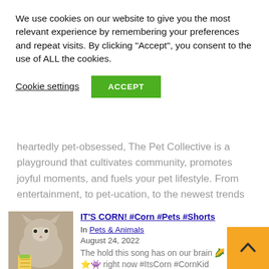We use cookies on our website to give you the most relevant experience by remembering your preferences and repeat visits. By clicking "Accept", you consent to the use of ALL the cookies.
Cookie settings | ACCEPT
heartedly pet-obsessed, The Pet Collective is a playground that cultivates community, promotes joyful moments, and fuels your pet lifestyle. From entertainment, to pet-ucation, to the newest trends and products, and [...]
IT'S CORN! #Corn #Pets #Shorts
In Pets & Animals
August 24, 2022
The hold this song has on our brain 🌽⭐👾 right now #ItsCorn #CornKid #FunnyCornVideo #CuteKids #FunniestAnimals
[Figure (photo): Thumbnail image of a cat holding corn]